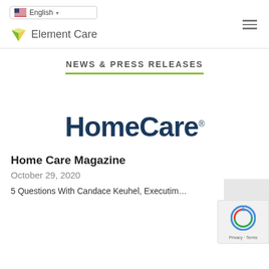English (language selector) | Element Care logo | hamburger menu
NEWS & PRESS RELEASES
[Figure (logo): HomeCare magazine logo in dark navy blue bold text]
Home Care Magazine
October 29, 2020
5 Questions With Candace Keuhel, Executim…